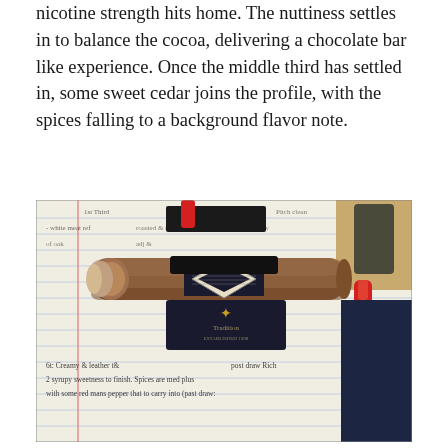nicotine strength hits home. The nuttiness settles in to balance the cocoa, delivering a chocolate bar like experience. Once the middle third has settled in, some sweet cedar joins the profile, with the spices falling to a background flavor note.
[Figure (photo): A cigar with a diamond-shaped band resting on an open notebook with handwritten tasting notes and a red lighter and lighter tool beside it.]